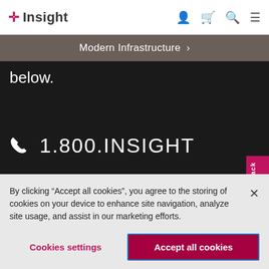Insight
Modern Infrastructure
below.
1.800.INSIGHT
Feedback
By clicking “Accept all cookies”, you agree to the storing of cookies on your device to enhance site navigation, analyze site usage, and assist in our marketing efforts.
Cookies settings
Accept all cookies